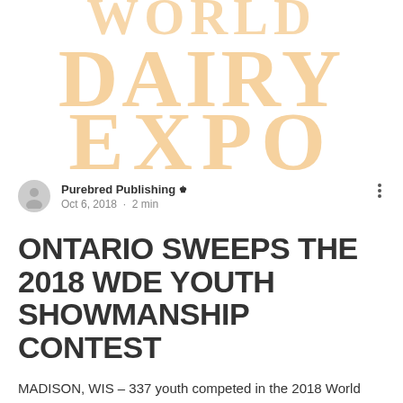[Figure (logo): World Dairy Expo logo text in large distressed/stamp-style golden/tan serif font reading DAIRY EXPO on two lines, with partial top line visible]
Purebred Publishing 👑
Oct 6, 2018 · 2 min
ONTARIO SWEEPS THE 2018 WDE YOUTH SHOWMANSHIP CONTEST
MADISON, WIS – 337 youth competed in the 2018 World Dairy Expo Youth